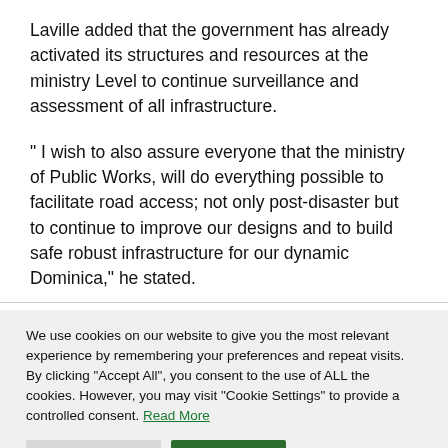Laville added that the government has already activated its structures and resources at the ministry Level to continue surveillance and assessment of all infrastructure.
" I wish to also assure everyone that the ministry of Public Works, will do everything possible to facilitate road access; not only post-disaster but to continue to improve our designs and to build safe robust infrastructure for our dynamic Dominica," he stated.
We use cookies on our website to give you the most relevant experience by remembering your preferences and repeat visits. By clicking “Accept All”, you consent to the use of ALL the cookies. However, you may visit "Cookie Settings" to provide a controlled consent. Read More